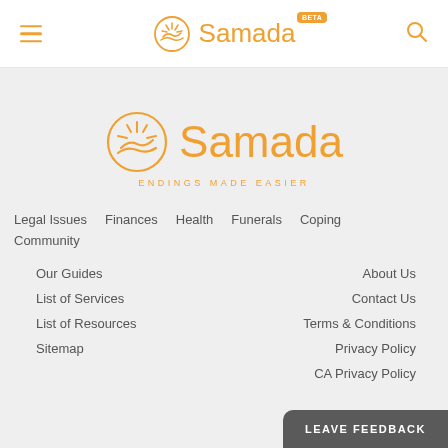Samada BETA
[Figure (logo): Samada logo with sun/wave circle icon and text 'Samada' in orange, with BETA badge, in website header]
[Figure (logo): Large Samada logo centered on gray background with sun/wave circle icon, 'Samada' text and 'ENDINGS MADE EASIER' tagline in orange]
Legal Issues
Finances
Health
Funerals
Coping
Community
Our Guides
List of Services
List of Resources
Sitemap
About Us
Contact Us
Terms & Conditions
Privacy Policy
CA Privacy Policy
LEAVE FEEDBACK